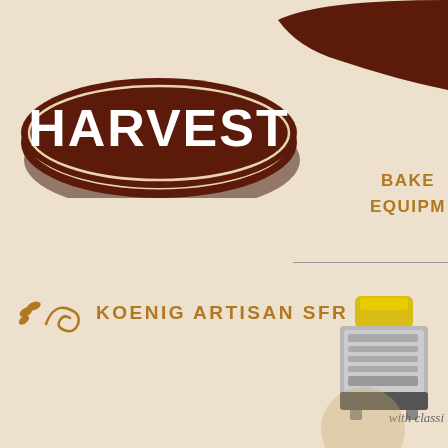[Figure (logo): Harvest Bakery Equipment logo - dark brown oval with white HARVEST text, with decorative swoosh in top right corner]
BAKE
EQUIPM
KOENIG ARTISAN SFR
[Figure (photo): Koenig Artisan SFR bakery machine - industrial bread forming equipment in grey/silver color with yellow container on top]
with classi